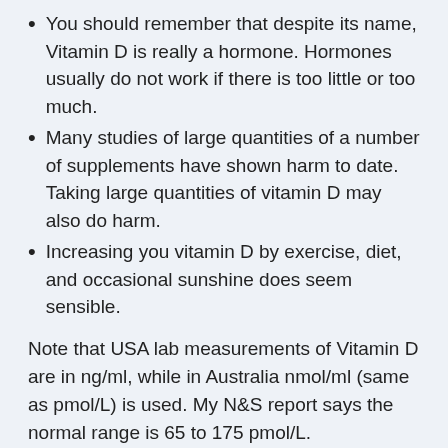You should remember that despite its name, Vitamin D is really a hormone. Hormones usually do not work if there is too little or too much.
Many studies of large quantities of a number of supplements have shown harm to date. Taking large quantities of vitamin D may also do harm.
Increasing you vitamin D by exercise, diet, and occasional sunshine does seem sensible.
Note that USA lab measurements of Vitamin D are in ng/ml, while in Australia nmol/ml (same as pmol/L) is used. My N&S report says the normal range is 65 to 175 pmol/L.